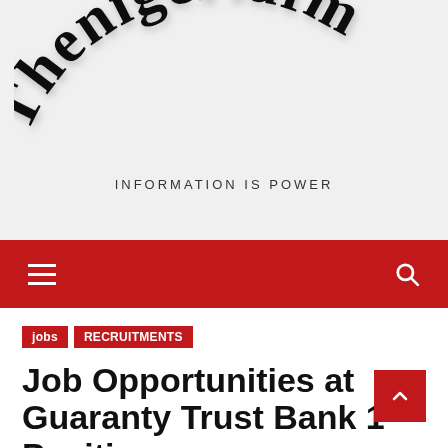[Figure (logo): Thenigeriafm logo with large 3D black serif letters arranged in an arc/banner shape on a light gray background]
INFORMATION IS POWER
[Figure (other): Red navigation bar with hamburger menu icon on left and search icon on right]
jobs
RECRUITMENTS
Job Opportunities at Guaranty Trust Bank 1 Positions...